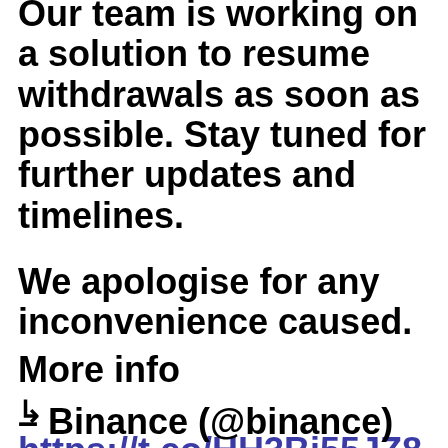Our team is working on a solution to resume withdrawals as soon as possible. Stay tuned for further updates and timelines.
We apologise for any inconvenience caused.
More info ↳ https://t.co/HH3Bi55JZ8
– Binance (@binance) June 13, 2022